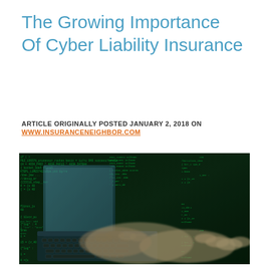The Growing Importance Of Cyber Liability Insurance
ARTICLE ORIGINALLY POSTED JANUARY 2, 2018 ON WWW.INSURANCENEIGHBOR.COM
[Figure (photo): Person typing on a laptop keyboard with green computer code overlaid on the dark background, suggesting hacking or cybersecurity theme]